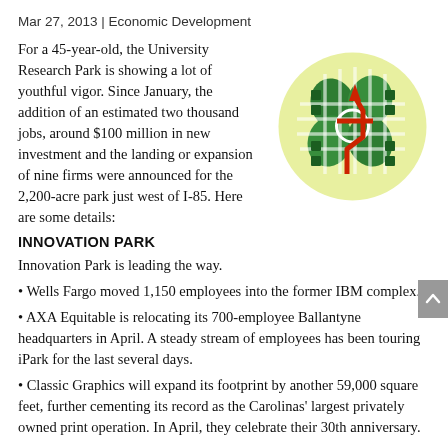Mar 27, 2013 | Economic Development
For a 45-year-old, the University Research Park is showing a lot of youthful vigor. Since January, the addition of an estimated two thousand jobs, around $100 million in new investment and the landing or expansion of nine firms were announced for the 2,200-acre park just west of I-85. Here are some details:
[Figure (logo): University Research Park / Innovation Park logo: green four-leaf clover/grid design on a yellow-green circular background with a red upward arrow]
INNOVATION PARK
Innovation Park is leading the way.
• Wells Fargo moved 1,150 employees into the former IBM complex.
• AXA Equitable is relocating its 700-employee Ballantyne headquarters in April. A steady stream of employees has been touring iPark for the last several days.
• Classic Graphics will expand its footprint by another 59,000 square feet, further cementing its record as the Carolinas' largest privately owned print operation. In April, they celebrate their 30th anniversary.
Energy giant Areva will move its North American headquarters there, locating its Innovation Park footprint to 200,000 square feet.